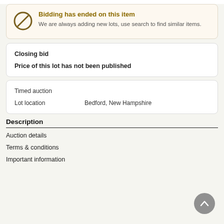Bidding has ended on this item
We are always adding new lots, use search to find similar items.
Closing bid
Price of this lot has not been published
Timed auction
Lot location    Bedford, New Hampshire
Description
Auction details
Terms & conditions
Important information